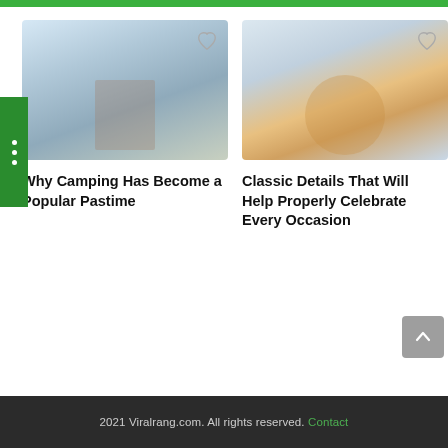[Figure (screenshot): Green top navigation bar strip]
[Figure (photo): Outdoor camping scene with a person in a snowy/winter landscape, heart/favorite icon in top right corner]
Why Camping Has Become a Popular Pastime
[Figure (photo): Colorful balloons or decorations outdoors, heart/favorite icon in top right corner]
Classic Details That Will Help Properly Celebrate Every Occasion
2021 Viralrang.com. All rights reserved. Contact